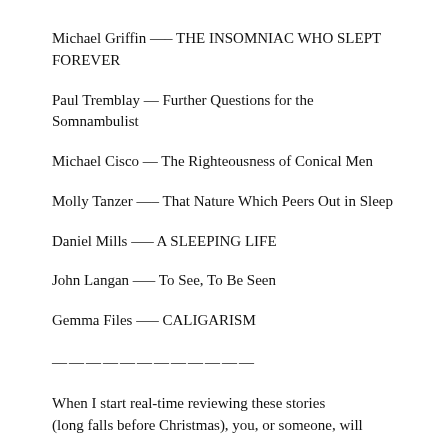Michael Griffin —– THE INSOMNIAC WHO SLEPT FOREVER
Paul Tremblay — Further Questions for the Somnambulist
Michael Cisco — The Righteousness of Conical Men
Molly Tanzer —– That Nature Which Peers Out in Sleep
Daniel Mills —– A SLEEPING LIFE
John Langan —– To See, To Be Seen
Gemma Files —– CALIGARISM
————————————
When I start real-time reviewing these stories (long falls before Christmas), you, or someone, will